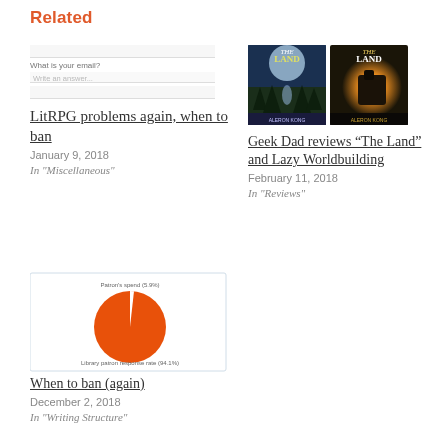Related
[Figure (other): Form placeholder with input fields: email field and write an answer textarea]
LitRPG problems again, when to ban
January 9, 2018
In "Miscellaneous"
[Figure (photo): Two book covers for 'The Land' series]
Geek Dad reviews “The Land” and Lazy Worldbuilding
February 11, 2018
In "Reviews"
[Figure (pie-chart): Pie chart with a large orange segment and a very small slice, with labels at top and bottom]
When to ban (again)
December 2, 2018
In "Writing Structure"